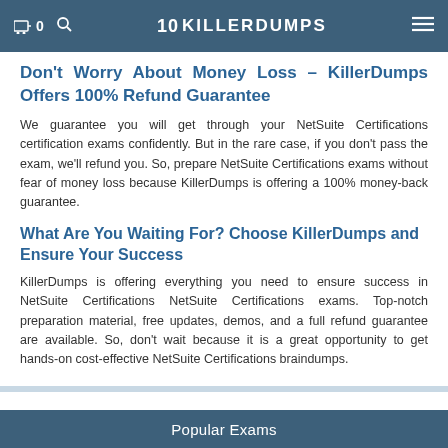KillerDumps — navigation bar
Don't Worry About Money Loss – KillerDumps Offers 100% Refund Guarantee
We guarantee you will get through your NetSuite Certifications certification exams confidently. But in the rare case, if you don't pass the exam, we'll refund you. So, prepare NetSuite Certifications exams without fear of money loss because KillerDumps is offering a 100% money-back guarantee.
What Are You Waiting For? Choose KillerDumps and Ensure Your Success
KillerDumps is offering everything you need to ensure success in NetSuite Certifications NetSuite Certifications exams. Top-notch preparation material, free updates, demos, and a full refund guarantee are available. So, don't wait because it is a great opportunity to get hands-on cost-effective NetSuite Certifications braindumps.
Popular Exams